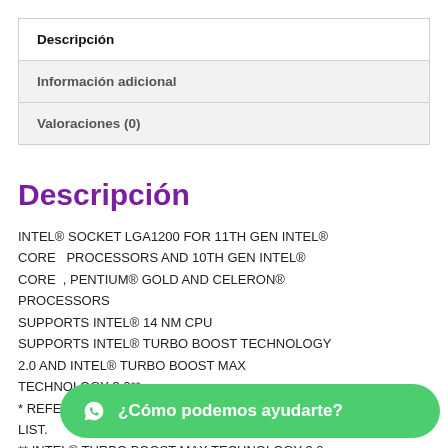Descripción
Información adicional
Valoraciones (0)
Descripción
INTEL® SOCKET LGA1200 FOR 11TH GEN INTEL® CORE   PROCESSORS AND 10TH GEN INTEL® CORE  , PENTIUM® GOLD AND CELERON® PROCESSORS
SUPPORTS INTEL® 14 NM CPU
SUPPORTS INTEL® TURBO BOOST TECHNOLOGY 2.0 AND INTEL® TURBO BOOST MAX TECHNOLOGY 3.0**
* REFER... LIST.
** INTEL® TURBO BOOST MAX TECHNOLOGY 3.0
¿Cómo podemos ayudarte?